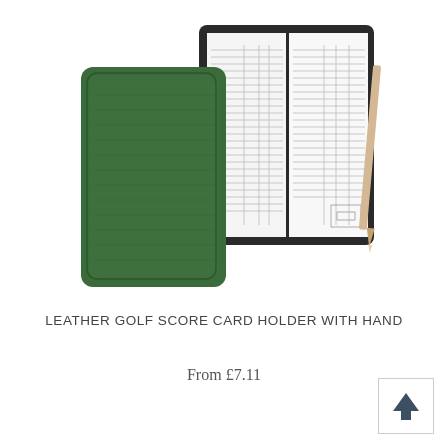[Figure (photo): A leather golf score card holder in green shown closed on the left, and an open black score card holder with golf score sheets and a pencil on the right]
LEATHER GOLF SCORE CARD HOLDER WITH HAND
From £7.11
[Figure (other): Back to top arrow button — upward pointing dark arrow in a bordered square]